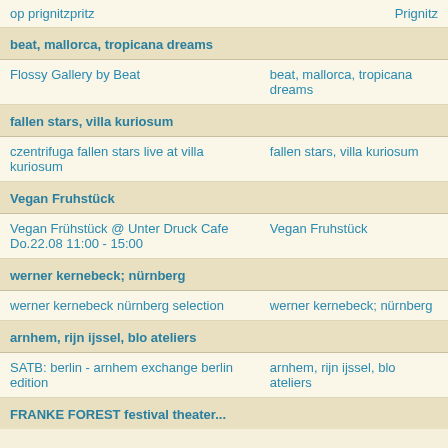| op prignitzpritz | Prignitz |
| beat, mallorca, tropicana dreams |  |
| Flossy Gallery by Beat | beat, mallorca, tropicana dreams |
| fallen stars, villa kuriosum |  |
| czentrifuga fallen stars live at villa kuriosum | fallen stars, villa kuriosum |
| Vegan Fruhstück |  |
| Vegan Frühstück @ Unter Druck Cafe Do.22.08 11:00 - 15:00 | Vegan Fruhstück |
| werner kernebeck; nürnberg |  |
| werner kernebeck nürnberg selection | werner kernebeck; nürnberg |
| arnhem, rijn ijssel, blo ateliers |  |
| SATB: berlin - arnhem exchange berlin edition | arnhem, rijn ijssel, blo ateliers |
| FRANKE FOREST festival theater... |  |